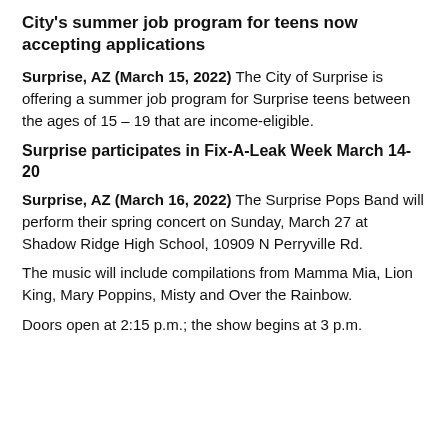City's summer job program for teens now accepting applications
Surprise, AZ (March 15, 2022) The City of Surprise is offering a summer job program for Surprise teens between the ages of 15 – 19 that are income-eligible.
Surprise participates in Fix-A-Leak Week March 14-20
Surprise, AZ (March 16, 2022) The Surprise Pops Band will perform their spring concert on Sunday, March 27 at Shadow Ridge High School, 10909 N Perryville Rd.
The music will include compilations from Mamma Mia, Lion King, Mary Poppins, Misty and Over the Rainbow.
Doors open at 2:15 p.m.; the show begins at 3 p.m.